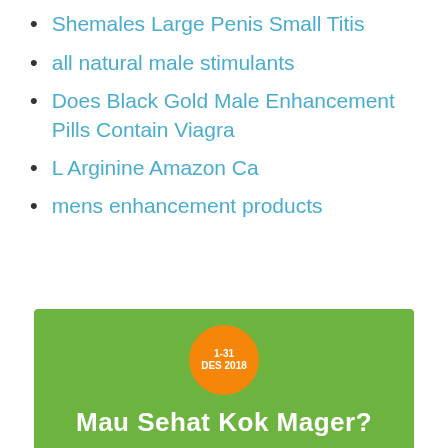Shemales Large Penis Small Titis
all natural male stimulants
Does Black Gold Male Enhancement Pills Contain Viagra
L Arginine Amazon Ca
mens enhancement products
[Figure (infographic): Green banner with orange circle badge reading '1-31 DES 2018' and bold white text 'Mau Sehat Kok Mager?']